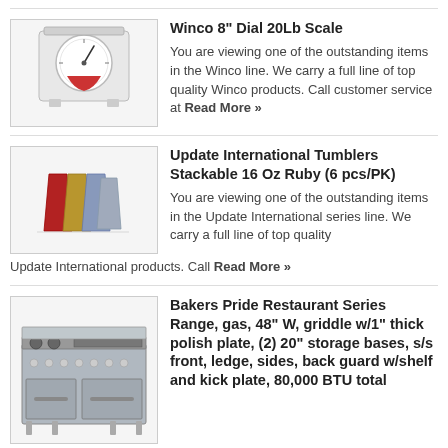[Figure (photo): Winco 8 inch dial scale, white mechanical kitchen scale with round dial face]
Winco 8" Dial 20Lb Scale
You are viewing one of the outstanding items in the Winco line. We carry a full line of top quality Winco products. Call customer service at Read More »
[Figure (photo): Update International stackable tumblers in red, gold, and blue colors, set of 6]
Update International Tumblers Stackable 16 Oz Ruby (6 pcs/PK)
You are viewing one of the outstanding items in the Update International series line. We carry a full line of top quality Update International products. Call Read More »
[Figure (photo): Bakers Pride Restaurant Series Range, large commercial gas range with griddle and storage bases]
Bakers Pride Restaurant Series Range, gas, 48" W, griddle w/1" thick polish plate, (2) 20" storage bases, s/s front, ledge, sides, back guard w/shelf and kick plate, 80,000 BTU total
Bakers Pride Restaurant Series Range, gas, 48" W, griddle w/1" thick polish plate, (2) 20" storage bases, s/s front, ledge, sides, back guard w/shelf and kick Read More »